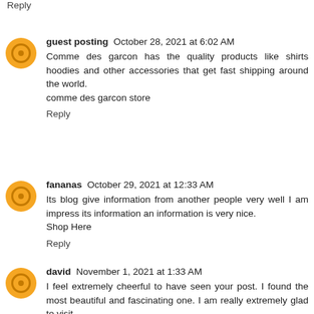Reply
guest posting  October 28, 2021 at 6:02 AM
Comme des garcon has the quality products like shirts hoodies and other accessories that get fast shipping around the world. comme des garcon store
Reply
fananas  October 29, 2021 at 12:33 AM
Its blog give information from another people very well I am impress its information an information is very nice. Shop Here
Reply
david  November 1, 2021 at 1:33 AM
I feel extremely cheerful to have seen your post. I found the most beautiful and fascinating one. I am really extremely glad to visit